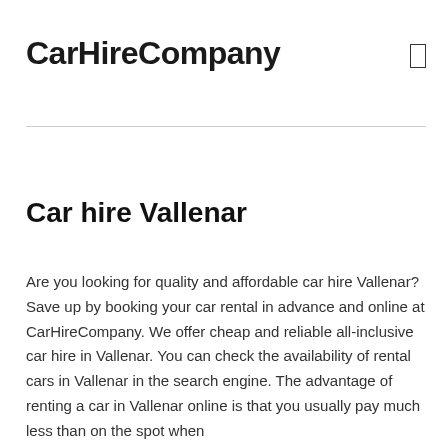CarHireCompany
Car hire Vallenar
Are you looking for quality and affordable car hire Vallenar? Save up by booking your car rental in advance and online at CarHireCompany. We offer cheap and reliable all-inclusive car hire in Vallenar. You can check the availability of rental cars in Vallenar in the search engine. The advantage of renting a car in Vallenar online is that you usually pay much less than on the spot when